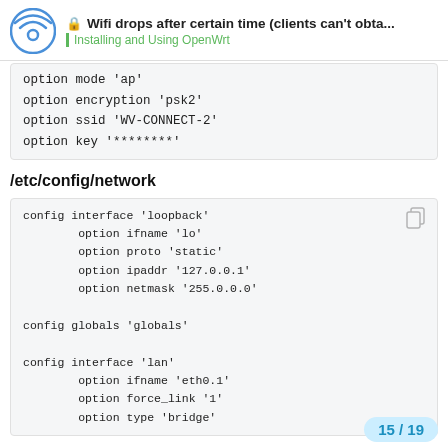Wifi drops after certain time (clients can't obta... | Installing and Using OpenWrt
option mode 'ap'
        option encryption 'psk2'
        option ssid 'WV-CONNECT-2'
        option key '********'
/etc/config/network
config interface 'loopback'
        option ifname 'lo'
        option proto 'static'
        option ipaddr '127.0.0.1'
        option netmask '255.0.0.0'

config globals 'globals'

config interface 'lan'
        option ifname 'eth0.1'
        option force_link '1'
        option type 'bridge'
15 / 19